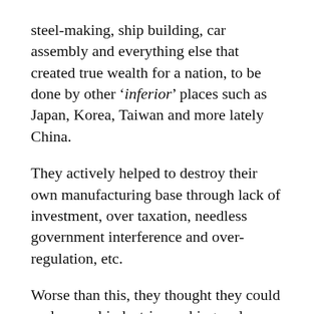steel-making, ship building, car assembly and everything else that created true wealth for a nation, to be done by other ‘inferior’ places such as Japan, Korea, Taiwan and more lately China.
They actively helped to destroy their own manufacturing base through lack of investment, over taxation, needless government interference and over-regulation, etc.
Worse than this, they thought they could replace real industries making real money, with ‘service’ industries.
They never figured out that the former is the foundation that means you can afford the